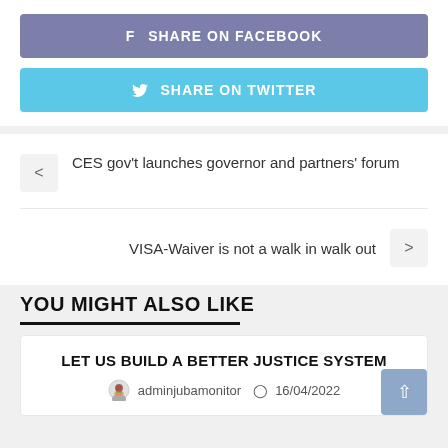SHARE ON FACEBOOK
SHARE ON TWITTER
CES gov't launches governor and partners' forum
VISA-Waiver is not a walk in walk out
YOU MIGHT ALSO LIKE
LET US BUILD A BETTER JUSTICE SYSTEM
adminjubamonitor  16/04/2022